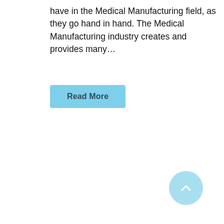have in the Medical Manufacturing field, as they go hand in hand. The Medical Manufacturing industry creates and provides many…
[Figure (other): A light blue rounded rectangle button labeled 'Read More' in bold dark teal text]
[Figure (other): A light blue circular scroll-to-top button with a white upward-pointing chevron arrow, positioned in the bottom-right corner]